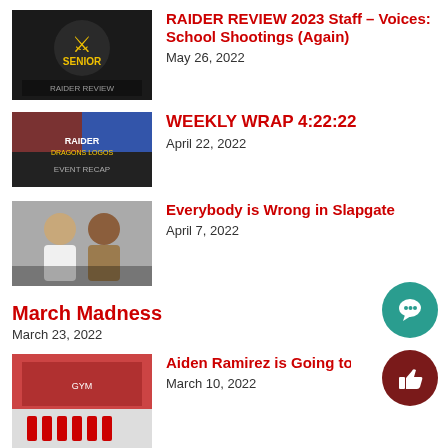[Figure (photo): School logo thumbnail - dark background with figure icons]
RAIDER REVIEW 2023 Staff – Voices: School Shootings (Again)
May 26, 2022
[Figure (photo): Weekly wrap thumbnail - crowd/event photo with text]
WEEKLY WRAP 4:22:22
April 22, 2022
[Figure (photo): Two men posing together - slapgate article thumbnail]
Everybody is Wrong in Slapgate
April 7, 2022
March Madness
March 23, 2022
[Figure (photo): Sports team photo in gym - Unified Cup article thumbnail]
Aiden Ramirez is Going to the Unified Cu
March 10, 2022
[Figure (photo): Mid Morning Show thumbnail - dark colorful image]
The Mid Morning Show with Diego
March 10, 2022